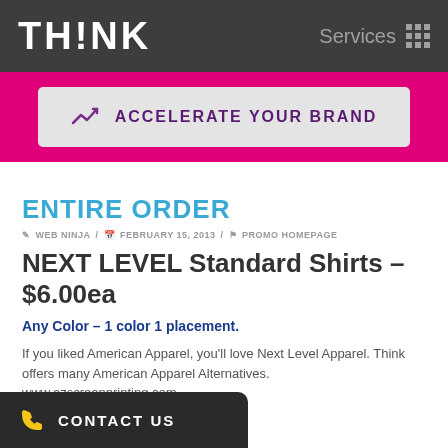TH!NK   Services
[Figure (infographic): Pink banner with gray rounded box containing upward arrow icon and text ACCELERATE YOUR BRAND]
ENTIRE ORDER
WEB NINJA / FEBRUARY 15, 2013 / PROMO HOMEPAGE
NEXT LEVEL Standard Shirts – $6.00ea
Any Color – 1 color 1 placement.
If you liked American Apparel, you'll love Next Level Apparel. Think offers many American Apparel Alternatives. www.azscreenprinting.com
100% combed soft cotton.
ement
$1 more 2xl sizes
[Figure (infographic): Dark contact bar with phone icon and CONTACT US text]